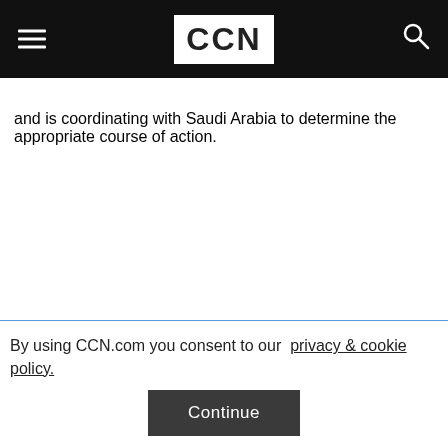CCN
and is coordinating with Saudi Arabia to determine the appropriate course of action.
By using CCN.com you consent to our  privacy & cookie policy.
Continue